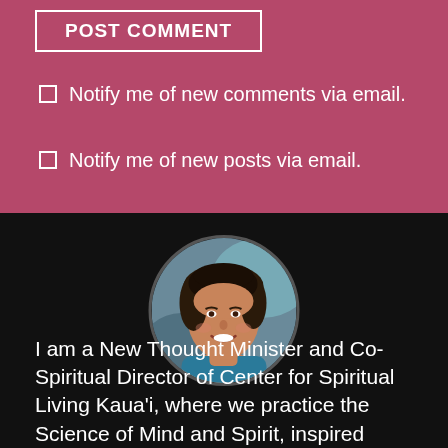POST COMMENT
Notify me of new comments via email.
Notify me of new posts via email.
[Figure (photo): Circular portrait photo of a smiling woman with curly dark hair against a blurred background.]
I am a New Thought Minister and Co-Spiritual Director of Center for Spiritual Living Kaua'i, where we practice the Science of Mind and Spirit, inspired